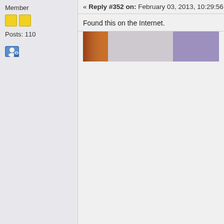Member
Posts: 110
« Reply #352 on: February 03, 2013, 10:29:56 A
Found this on the Internet.
[Figure (photo): Partial cropped photo showing a blurred colorful image, appears to be a cat or animal with warm tones on the left and cooler purple/blue tones on the right]